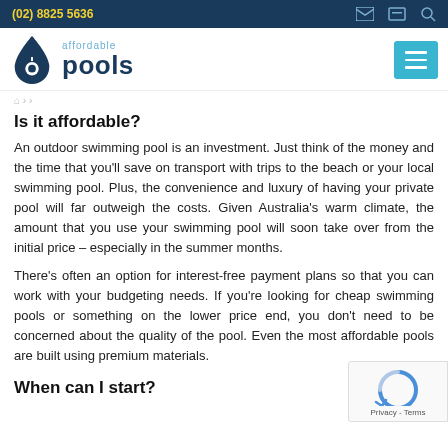(02) 8825 5636
[Figure (logo): Affordable Pools logo with water drop icon and text 'affordable pools']
breadcrumb navigation links
Is it affordable?
An outdoor swimming pool is an investment. Just think of the money and the time that you'll save on transport with trips to the beach or your local swimming pool. Plus, the convenience and luxury of having your private pool will far outweigh the costs. Given Australia's warm climate, the amount that you use your swimming pool will soon take over from the initial price – especially in the summer months.
There's often an option for interest-free payment plans so that you can work with your budgeting needs. If you're looking for cheap swimming pools or something on the lower price end, you don't need to be concerned about the quality of the pool. Even the most affordable pools are built using premium materials.
When can I start?